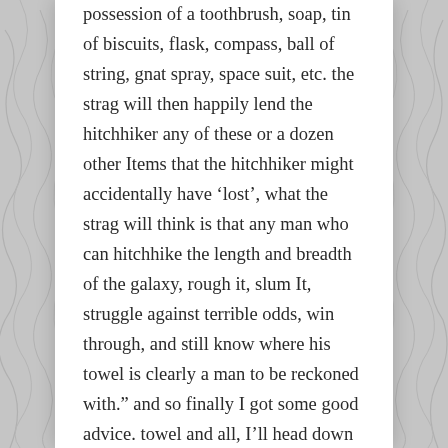possession of a toothbrush, soap, tin of biscuits, flask, compass, ball of string, gnat spray, space suit, etc. the strag will then happily lend the hitchhiker any of these or a dozen other Items that the hitchhiker might accidentally have ‘lost’, what the strag will think is that any man who can hitchhike the length and breadth of the galaxy, rough it, slum It, struggle against terrible odds, win through, and still know where his towel is clearly a man to be reckoned with.” and so finally I got some good advice. towel and all, I’ll head down through la mosquitia, with